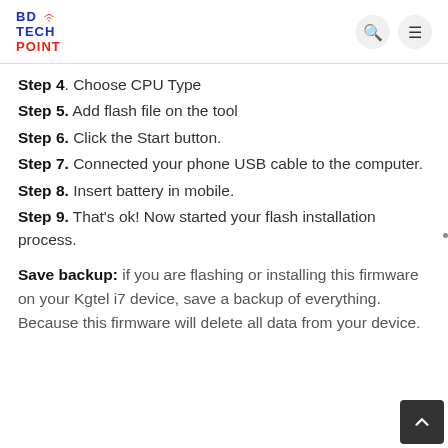BD TECH POINT
Step 4. Choose CPU Type
Step 5. Add flash file on the tool
Step 6. Click the Start button.
Step 7. Connected your phone USB cable to the computer.
Step 8. Insert battery in mobile.
Step 9. That's ok! Now started your flash installation process.
Save backup: if you are flashing or installing this firmware on your Kgtel i7 device, save a backup of everything. Because this firmware will delete all data from your device.